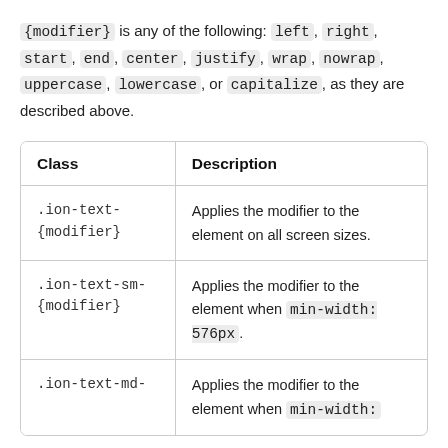{modifier} is any of the following: left, right, start, end, center, justify, wrap, nowrap, uppercase, lowercase, or capitalize, as they are described above.
| Class | Description |
| --- | --- |
| .ion-text-{modifier} | Applies the modifier to the element on all screen sizes. |
| .ion-text-sm-{modifier} | Applies the modifier to the element when min-width: 576px. |
| .ion-text-md- | Applies the modifier to the element when min-width: |